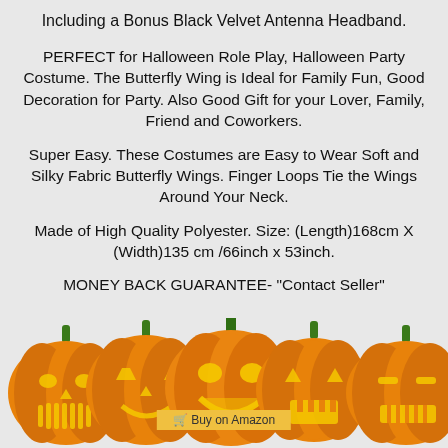Including a Bonus Black Velvet Antenna Headband.
PERFECT for Halloween Role Play, Halloween Party Costume. The Butterfly Wing is Ideal for Family Fun, Good Decoration for Party. Also Good Gift for your Lover, Family, Friend and Coworkers.
Super Easy. These Costumes are Easy to Wear Soft and Silky Fabric Butterfly Wings. Finger Loops Tie the Wings Around Your Neck.
Made of High Quality Polyester. Size: (Length)168cm X (Width)135 cm /66inch x 53inch.
MONEY BACK GUARANTEE- "Contact Seller"
[Figure (illustration): Row of five orange jack-o-lantern pumpkins with green stems and glowing yellow faces, Halloween themed decoration at the bottom of the page.]